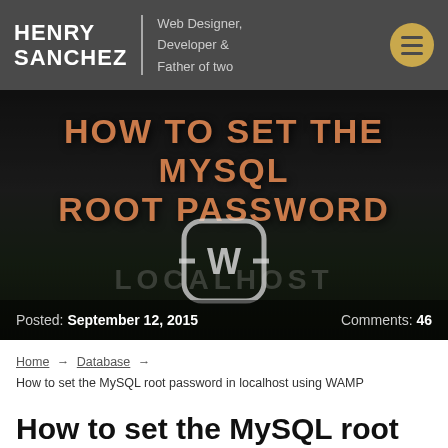HENRY SANCHEZ — Web Designer, Developer & Father of two
[Figure (screenshot): Hero banner image with dark background showing text 'HOW TO SET THE MYSQL ROOT PASSWORD' in large orange uppercase letters, a WAMP logo icon in center, and LOCALHOST watermark. Meta bar at bottom shows Posted: September 12, 2015 and Comments: 46.]
Home → Database → How to set the MySQL root password in localhost using WAMP
How to set the MySQL root password in localhost using